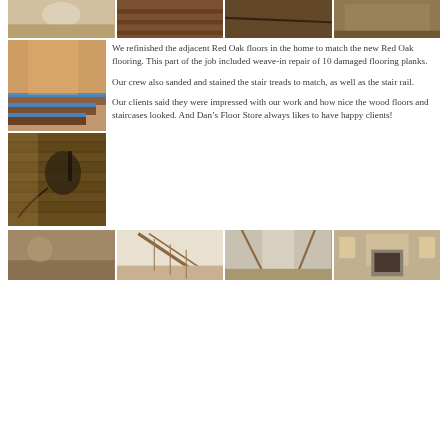[Figure (photo): Four flooring photos in a row at the top of the page]
[Figure (photo): Photo of stair treads with blue tape during installation]
[Figure (photo): Photo of hardwood floor being sanded with equipment]
We refinished the adjacent Red Oak floors in the home to match the new Red Oak flooring. This part of the job included weave-in repair of 10 damaged flooring planks.
Our crew also sanded and stained the stair treads to match, as well as the stair rail.
Our clients said they were impressed with our work and how nice the wood floors and staircases looked. And Dan’s Floor Store always likes to have happy clients!
[Figure (photo): Four photos at the bottom showing finished floors, staircase, hallway, and living room]